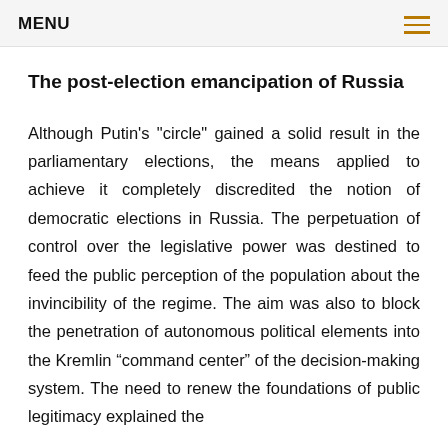MENU
The post-election emancipation of Russia
Although Putin's "circle" gained a solid result in the parliamentary elections, the means applied to achieve it completely discredited the notion of democratic elections in Russia. The perpetuation of control over the legislative power was destined to feed the public perception of the population about the invincibility of the regime. The aim was also to block the penetration of autonomous political elements into the Kremlin “command center” of the decision-making system. The need to renew the foundations of public legitimacy explained the